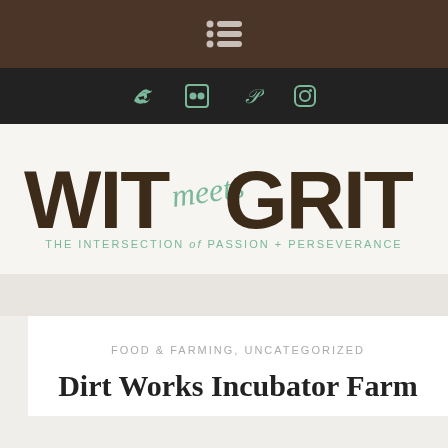Navigation menu icon (hamburger)
Social icons: Twitter, Flickr, Pinterest, Instagram
[Figure (logo): WIT meets GRIT logo — THE INTERSECTION of PASSION + PERSEVERANCE]
FOOD & FARMING, UNCATEGORIZED
Dirt Works Incubator Farm